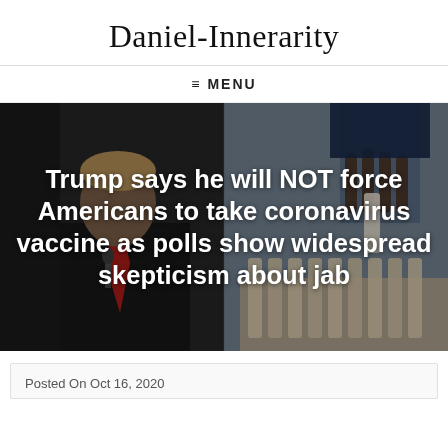Daniel-Innerarity
≡ MENU
[Figure (photo): Split background image: left side shows Donald Trump speaking at a microphone wearing a red tie, right side shows a hand holding medical vials/test tubes with a rack of vials below, both sides darkened/dimmed.]
Trump says he will NOT force Americans to take coronavirus vaccine as polls show widespread skepticism about jab
Posted On Oct 16, 2020